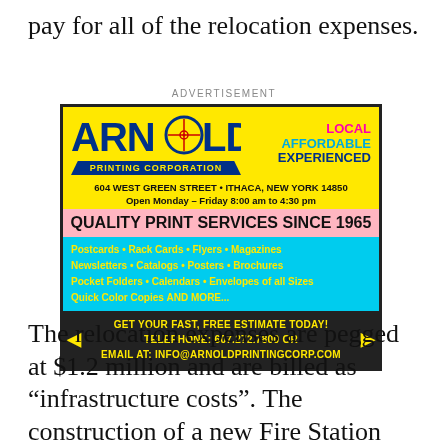pay for all of the relocation expenses.
ADVERTISEMENT
[Figure (infographic): Arnold Printing Corporation advertisement. Yellow background with blue logo. LOCAL AFFORDABLE EXPERIENCED tagline. Address: 604 WEST GREEN STREET • ITHACA, NEW YORK 14850. Open Monday – Friday 8:00 am to 4:30 pm. QUALITY PRINT SERVICES SINCE 1965. Lists: Postcards, Rack Cards, Flyers, Magazines, Newsletters, Catalogs, Posters, Brochures, Pocket Folders, Calendars, Envelopes of all Sizes, Quick Color Copies AND MORE... GET YOUR FAST, FREE ESTIMATE TODAY! TELEPHONE: 607.272.7800 OR EMAIL AT: INFO@ARNOLDPRINTINGCORP.COM]
The relocation expenses are pegged at $1.2 million and are billed as “infrastructure costs”. The construction of a new Fire Station